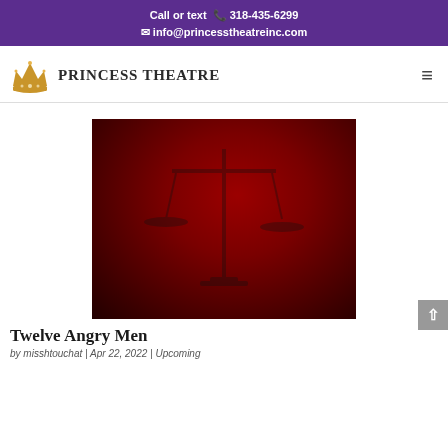Call or text 318-435-6299 info@princesstheatreinc.com
[Figure (logo): Princess Theatre logo with golden crown and serif text 'Princess Theatre']
[Figure (photo): Dark red background image with faint scales of justice silhouette — promotional image for Twelve Angry Men]
Twelve Angry Men
by misshtouchat | Apr 22, 2022 | Upcoming